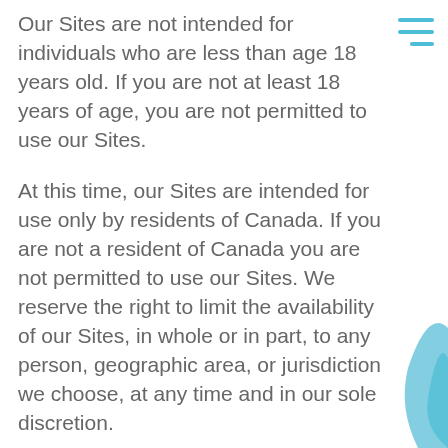Our Sites are not intended for individuals who are less than age 18 years old. If you are not at least 18 years of age, you are not permitted to use our Sites.
At this time, our Sites are intended for use only by residents of Canada. If you are not a resident of Canada you are not permitted to use our Sites. We reserve the right to limit the availability of our Sites, in whole or in part, to any person, geographic area, or jurisdiction we choose, at any time and in our sole discretion.
If you are using our Sites on behalf of a legal entity, you represent that